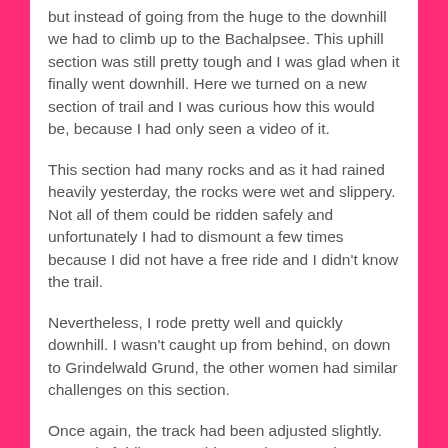but instead of going from the huge to the downhill we had to climb up to the Bachalpsee. This uphill section was still pretty tough and I was glad when it finally went downhill. Here we turned on a new section of trail and I was curious how this would be, because I had only seen a video of it.
This section had many rocks and as it had rained heavily yesterday, the rocks were wet and slippery. Not all of them could be ridden safely and unfortunately I had to dismount a few times because I did not have a free ride and I didn't know the trail.
Nevertheless, I rode pretty well and quickly downhill. I wasn't caught up from behind, on down to Grindelwald Grund, the other women had similar challenges on this section.
Once again, the track had been adjusted slightly. Instead of riding everything on the street, it went